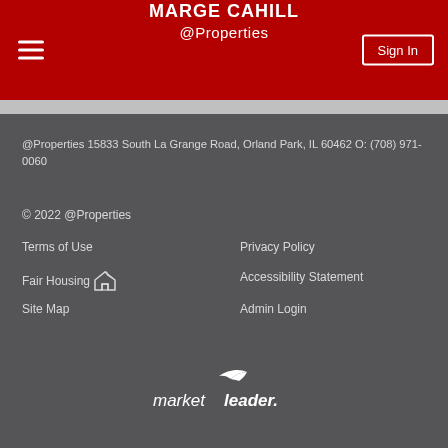MARGE CAHILL @Properties
@Properties 15833 South La Grange Road, Orland Park, IL 60462 O: (708) 971-0060
© 2022 @Properties
Terms of Use
Privacy Policy
Fair Housing
Accessibility Statement
Site Map
Admin Login
[Figure (logo): market leader. logo in white italic text with a bird/swoosh above the word 'leader']